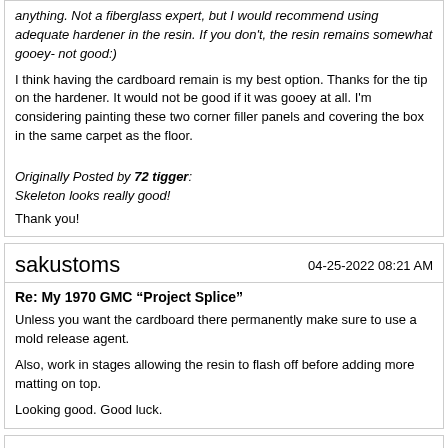anything. Not a fiberglass expert, but I would recommend using adequate hardener in the resin. If you don't, the resin remains somewhat gooey- not good:)
I think having the cardboard remain is my best option. Thanks for the tip on the hardener. It would not be good if it was gooey at all. I'm considering painting these two corner filler panels and covering the box in the same carpet as the floor.
Originally Posted by 72 tigger:
Skeleton looks really good!
Thank you!
sakustoms
04-25-2022 08:21 AM
Re: My 1970 GMC “Project Splice”
Unless you want the cardboard there permanently make sure to use a mold release agent.
Also, work in stages allowing the resin to flash off before adding more matting on top.
Looking good. Good luck.
Kronald_70GMC